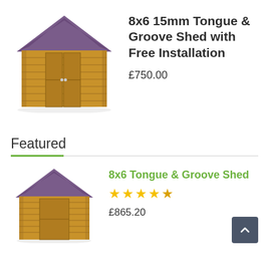[Figure (photo): Wooden 8x6 tongue and groove shed with double doors and apex roof]
8x6 15mm Tongue & Groove Shed with Free Installation
£750.00
Featured
[Figure (photo): Smaller wooden tongue and groove shed with apex roof]
8x6 Tongue & Groove Shed
★★★★★
£865.20